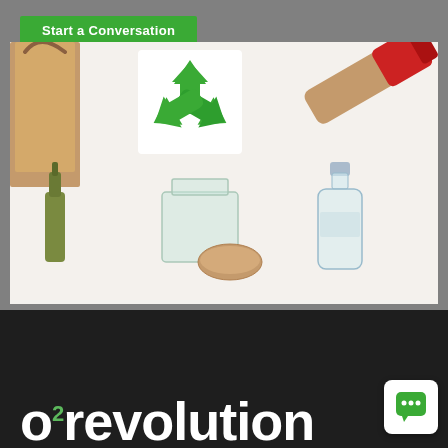[Figure (screenshot): Green 'Start a Conversation' button on grey background]
[Figure (photo): Overhead photo of recyclable items on white background: paper bag, green recycling symbol, cardboard tube with red cap, glass bottle, glass jar with lid, plastic bottle]
[Figure (logo): O2 revolution logo in white text on dark background with superscript 2 in green, partial text 'revolution' visible]
[Figure (other): Chat bubble widget icon in bottom right corner]